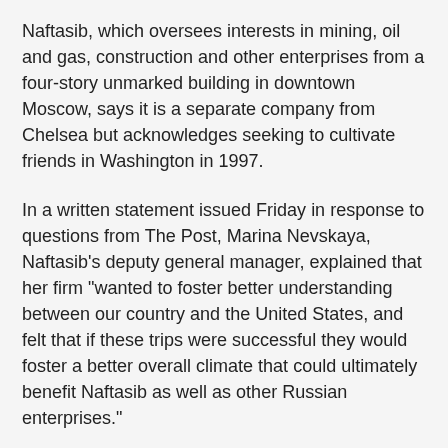Naftasib, which oversees interests in mining, oil and gas, construction and other enterprises from a four-story unmarked building in downtown Moscow, says it is a separate company from Chelsea but acknowledges seeking to cultivate friends in Washington in 1997.
In a written statement issued Friday in response to questions from The Post, Marina Nevskaya, Naftasib's deputy general manager, explained that her firm "wanted to foster better understanding between our country and the United States, and felt that if these trips were successful they would foster a better overall climate that could ultimately benefit Naftasib as well as other Russian enterprises."
Nevskaya said her company "did not finance in any manner" the DeLay trip or the others described in Levinson's memo. But she said Naftasib "did host and pay for some dinners for participants in some of the trips, organized a few other special events . . . and may have provided minor courtesies, such as some auto pickups and dropoffs for some visitors during one or more of the trips."